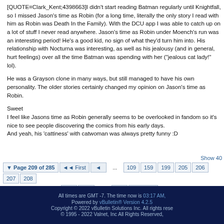[QUOTE=Clark_Kent;4398663]I didn't start reading Batman regularly until Knightfall, so I missed Jason's time as Robin (for a long time, literally the only story I read with him as Robin was Death In the Family). With the DCU app I was able to catch up on a lot of stuff I never read anywhere. Jason's time as Robin under Moench's run was an interesting period! He's a good kid, no sign of what they'd turn him into. His relationship with Nocturna was interesting, as well as his jealousy (and in general, hurt feelings) over all the time Batman was spending with her ("jealous cat lady!" lol).
He was a Grayson clone in many ways, but still managed to have his own personality. The older stories certainly changed my opinion on Jason's time as Robin.
Sweet
I feel like Jasons time as Robin generally seems to be overlooked in fandom so it's nice to see people discovering the comics from his early days.
And yeah, his 'cattiness' with catwoman was always pretty funny :D
Show 40 | Page 209 of 285 | First | ... | 109 | 159 | 199 | 205 | 206 | 207 | 208 | 219 | 259 | ... | Last | All times are GMT -7. The time now is 03:17 AM. Powered by vBulletin® Version 4.2.5 Copyright © 2022 vBulletin Solutions Inc. All rights reserved. © 1995 - 2022 Valnet, Inc All Rights Reserved.